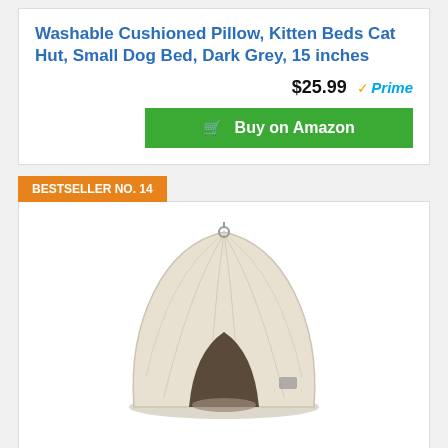Washable Cushioned Pillow, Kitten Beds Cat Hut, Small Dog Bed, Dark Grey, 15 inches
$25.99 ✓Prime
[Figure (other): Green Buy on Amazon button with shopping cart icon]
BESTSELLER NO. 14
[Figure (photo): A beige corduroy pet tent/hut bed for cats and dogs, dome-shaped with a triangular opening]
Best Pet SuppliesPet Tent-Soft Bed for Dog & Cat by Best Pet Supplies, Corduroy Beige, Model:TT620T-XL